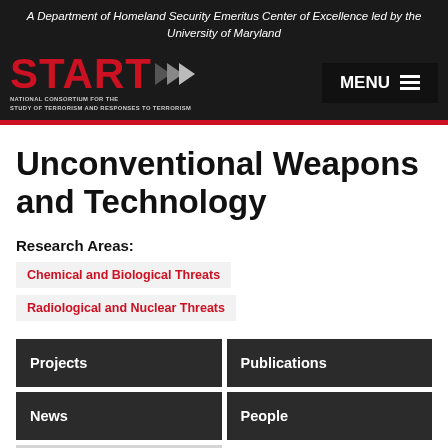A Department of Homeland Security Emeritus Center of Excellence led by the University of Maryland
[Figure (logo): START National Consortium for the Study of Terrorism and Responses to Terrorism logo with red text and grey arrows]
Unconventional Weapons and Technology
Research Areas:
Chemical and Biological Threats
Radiological and Nuclear Threats
Projects
Publications
News
People
Data & Tools